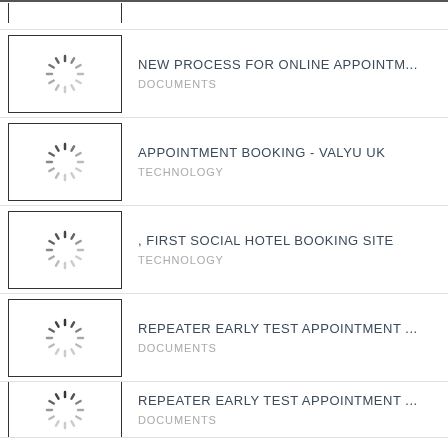NEW PROCESS FOR ONLINE APPOINTM...
APPOINTMENT BOOKING - VALYU UK
, FIRST SOCIAL HOTEL BOOKING SITE
REPEATER EARLY TEST APPOINTMENT ...
REPEATER EARLY TEST APPOINTMENT ...